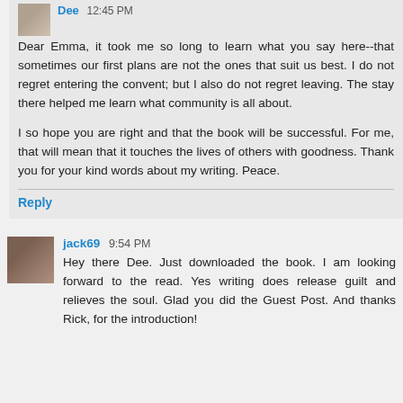Dear Emma, it took me so long to learn what you say here--that sometimes our first plans are not the ones that suit us best. I do not regret entering the convent; but I also do not regret leaving. The stay there helped me learn what community is all about.

I so hope you are right and that the book will be successful. For me, that will mean that it touches the lives of others with goodness. Thank you for your kind words about my writing. Peace.
Reply
jack69  9:54 PM
Hey there Dee. Just downloaded the book. I am looking forward to the read. Yes writing does release guilt and relieves the soul. Glad you did the Guest Post. And thanks Rick, for the introduction!